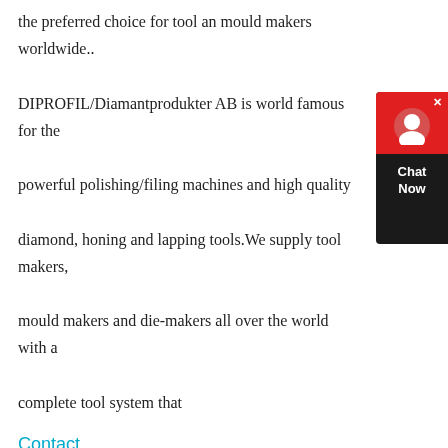the preferred choice for tool an mould makers worldwide.. DIPROFIL/Diamantprodukter AB is world famous for the powerful polishing/filing machines and high quality diamond, honing and lapping tools.We supply tool makers, mould makers and die-makers all over the world with a complete tool system that
Contact
[Figure (photo): Industrial machinery/sand casting equipment at an outdoor site with mountains in the background]
Sand Casting Process, Defects, Design CustomPart.Net
Mold In sand casting, the primary piece of equipment is the